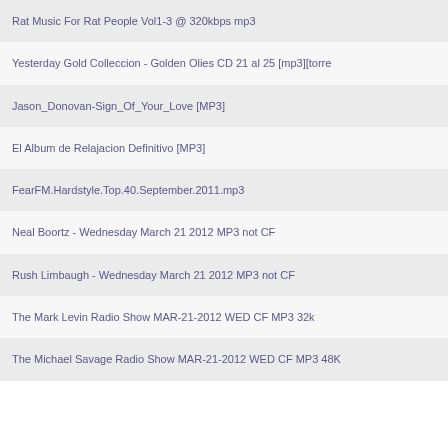Rat Music For Rat People Vol1-3 @ 320kbps mp3
Yesterday Gold Colleccion - Golden Olies CD 21 al 25 [mp3][torre
Jason_Donovan-Sign_Of_Your_Love [MP3]
El Album de Relajacion Definitivo [MP3]
FearFM.Hardstyle.Top.40.September.2011.mp3
Neal Boortz - Wednesday March 21 2012 MP3 not CF
Rush Limbaugh - Wednesday March 21 2012 MP3 not CF
The Mark Levin Radio Show MAR-21-2012 WED CF MP3 32k
The Michael Savage Radio Show MAR-21-2012 WED CF MP3 48K